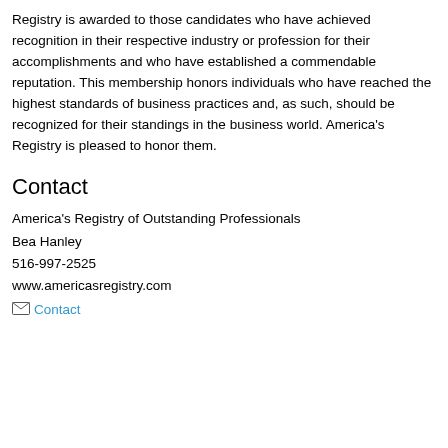Registry is awarded to those candidates who have achieved recognition in their respective industry or profession for their accomplishments and who have established a commendable reputation. This membership honors individuals who have reached the highest standards of business practices and, as such, should be recognized for their standings in the business world. America's Registry is pleased to honor them.
Contact
America's Registry of Outstanding Professionals
Bea Hanley
516-997-2525
www.americasregistry.com
Contact